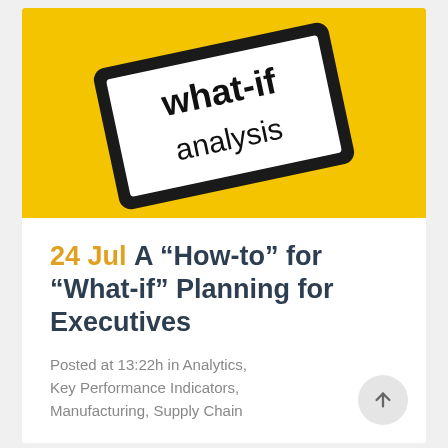[Figure (photo): Yellow background with a black tablet/frame displaying 'what-if analysis' text in bold sans-serif font, tilted at an angle]
24 Jul A “How-to” for “What-if” Planning for Executives
Posted at 13:22h in Analytics, Key Performance Indicators, Manufacturing, Supply Chain